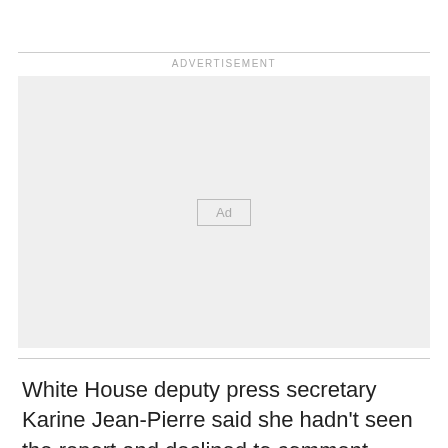[Figure (other): Advertisement placeholder box with 'Ad' label centered inside a light gray rectangle]
White House deputy press secretary Karine Jean-Pierre said she hadn't seen the report and declined to comment.